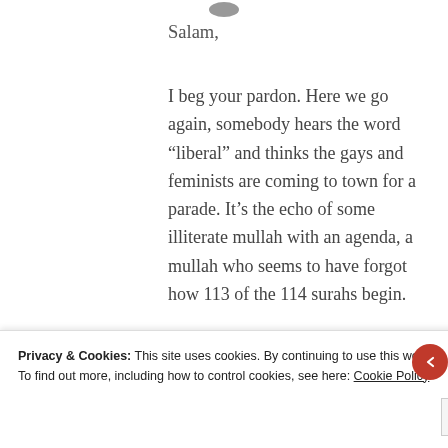Salam,
I beg your pardon. Here we go again, somebody hears the word “liberal” and thinks the gays and feminists are coming to town for a parade. It’s the echo of some illiterate mullah with an agenda, a mullah who seems to have forgot how 113 of the 114 surahs begin.
Just Google ‘Liberal movements within Islam’ for the answers you seek. Liberal
Privacy & Cookies: This site uses cookies. By continuing to use this website, you agree to their use.
To find out more, including how to control cookies, see here: Cookie Policy
Close and accept